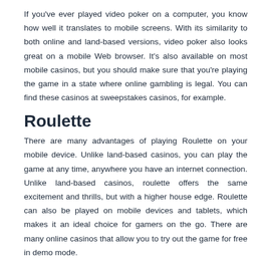If you've ever played video poker on a computer, you know how well it translates to mobile screens. With its similarity to both online and land-based versions, video poker also looks great on a mobile Web browser. It's also available on most mobile casinos, but you should make sure that you're playing the game in a state where online gambling is legal. You can find these casinos at sweepstakes casinos, for example.
Roulette
There are many advantages of playing Roulette on your mobile device. Unlike land-based casinos, you can play the game at any time, anywhere you have an internet connection. Unlike land-based casinos, roulette offers the same excitement and thrills, but with a higher house edge. Roulette can also be played on mobile devices and tablets, which makes it an ideal choice for gamers on the go. There are many online casinos that allow you to try out the game for free in demo mode.
Craps
If you want to play Craps on the go, you don't need to create a new account. You can simply visit a casino's website on your